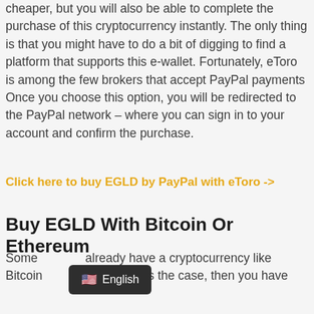cheaper, but you will also be able to complete the purchase of this cryptocurrency instantly. The only thing is that you might have to do a bit of digging to find a platform that supports this e-wallet. Fortunately, eToro is among the few brokers that accept PayPal payments Once you choose this option, you will be redirected to the PayPal network – where you can sign in to your account and confirm the purchase.
Click here to buy EGLD by PayPal with eToro ->
Buy EGLD With Bitcoin Or Ethereum
Some already have a cryptocurrency like Bitcoin folio. If this is the case, then you have